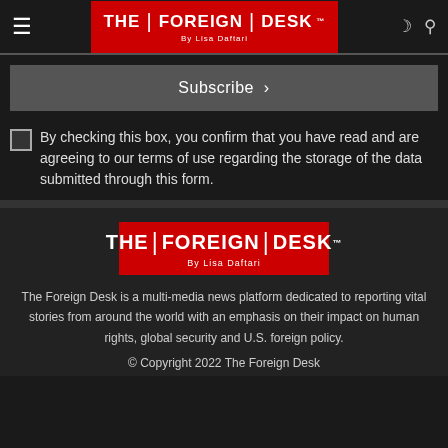THE | FOREIGN | DESK By Lisa Daftari
Subscribe >
By checking this box, you confirm that you have read and are agreeing to our terms of use regarding the storage of the data submitted through this form.
[Figure (logo): The Foreign Desk logo — red background with white text THE | FOREIGN | DESK By Lisa Daftari]
The Foreign Desk is a multi-media news platform dedicated to reporting vital stories from around the world with an emphasis on their impact on human rights, global security and U.S. foreign policy.
© Copyright 2022 The Foreign Desk